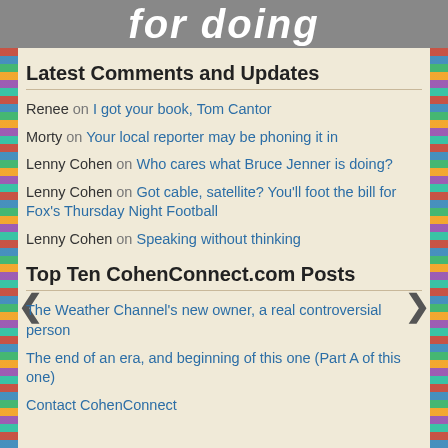for doing
Latest Comments and Updates
Renee on I got your book, Tom Cantor
Morty on Your local reporter may be phoning it in
Lenny Cohen on Who cares what Bruce Jenner is doing?
Lenny Cohen on Got cable, satellite? You’ll foot the bill for Fox’s Thursday Night Football
Lenny Cohen on Speaking without thinking
Top Ten CohenConnect.com Posts
The Weather Channel’s new owner, a real controversial person
The end of an era, and beginning of this one (Part A of this one)
Contact CohenConnect